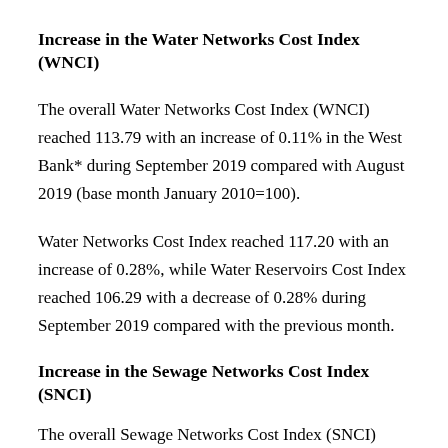Increase in the Water Networks Cost Index (WNCI)
The overall Water Networks Cost Index (WNCI) reached 113.79 with an increase of 0.11% in the West Bank* during September 2019 compared with August 2019 (base month January 2010=100).
Water Networks Cost Index reached 117.20 with an increase of 0.28%, while Water Reservoirs Cost Index reached 106.29 with a decrease of 0.28% during September 2019 compared with the previous month.
Increase in the Sewage Networks Cost Index (SNCI)
The overall Sewage Networks Cost Index (SNCI)